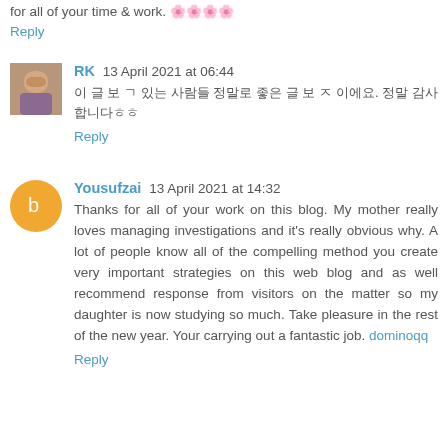for all of your time & work. 🌸🌸🌸🌸
Reply
RK  13 April 2021 at 06:44
이 글 보 ㄱ 있는 사람들 정말로 좋은 글 보 ㅈ 이에요. 정말 감사합니다ㅎㅎ
Reply
Yousufzai  13 April 2021 at 14:32
Thanks for all of your work on this blog. My mother really loves managing investigations and it's really obvious why. A lot of people know all of the compelling method you create very important strategies on this web blog and as well recommend response from visitors on the matter so my daughter is now studying so much. Take pleasure in the rest of the new year. Your carrying out a fantastic job. dominoqq
Reply